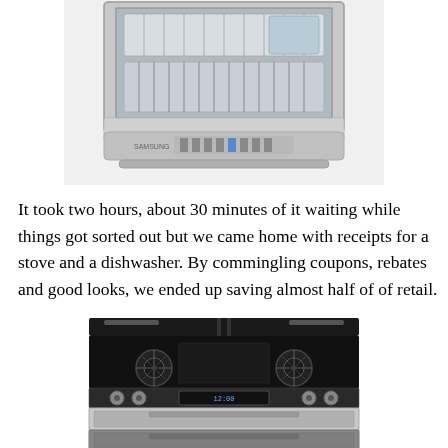[Figure (photo): Open stainless steel dishwasher showing interior racks with dishes, with control panel at front, Samsung brand]
It took two hours, about 30 minutes of it waiting while things got sorted out but we came home with receipts for a stove and a dishwasher. By commingling coupons, rebates and good looks, we ended up saving almost half of of retail.
[Figure (photo): Stainless steel gas range/stove viewed from front-top angle, showing burners and double oven drawer at bottom]